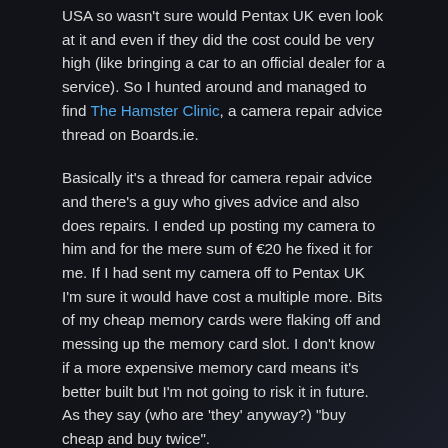USA so wasn't sure would Pentax UK even look at it and even if they did the cost could be very high (like bringing a car to an official dealer for a service). So I hunted around and managed to find The Hamster Clinic, a camera repair advice thread on Boards.ie.
Basically it's a thread for camera repair advice and there's a guy who gives advice and also does repairs. I ended up posting my camera to him and for the mere sum of €20 he fixed it for me. If I had sent my camera off to Pentax UK I'm sure it would have cost a multiple more. Bits of my cheap memory cards were flaking off and messing up the memory card slot. I don't know if a more expensive memory card means it's better built but I'm not going to risk it in future. As they say (who are 'they' anyway?) "buy cheap and buy twice".
The other lesson I learnt is that if you're doing a job MAKE SURE YOU HAVE A BACKUP CAMERA. Luckily for me the Alabama concert was just some hobby photography but I was scheduled to shoot a wedding. I managed to borrow a Pentax body from another amazingly generous and trusting stranger through the Boards.ie Photography forum. (This sounds like an ad for Boards.ie Photography forum but I haven't received any financial gratitude for my opinions…).